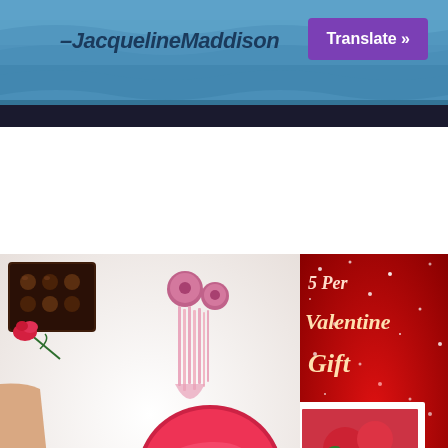[Figure (screenshot): Top banner with ocean/water background showing text '-JacquelineMaddison' in dark italic font and a purple 'Translate »' button in the top right corner]
[Figure (photo): Composite promotional image for Beverly Hills Magazine Valentine's Day gift guide. Left side shows white/light background with chocolates, pink tassel earrings, a woman's torso in white underwear, a rose, and a Crazy Aaron's SCINTsory Putty tin labeled 'I LOVE YOU'. Right side shows red glitter background with text '5 Per... Valentine Gift' and a polaroid-style photo of red and pink flower bouquet.]
www.BeverlyHillsMagazine.com